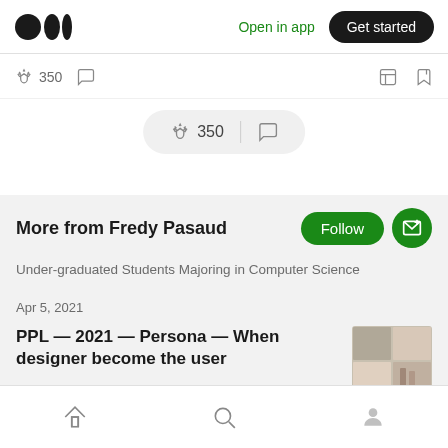Medium logo | Open in app | Get started
350 claps, comment icon, share icon, bookmark icon
[Figure (screenshot): Floating pill with clapping hands icon showing 350 and a comment bubble icon]
More from Fredy Pasaud
Under-graduated Students Majoring in Computer Science
Apr 5, 2021
PPL — 2021 — Persona — When designer become the user
Home, Search, Profile navigation icons